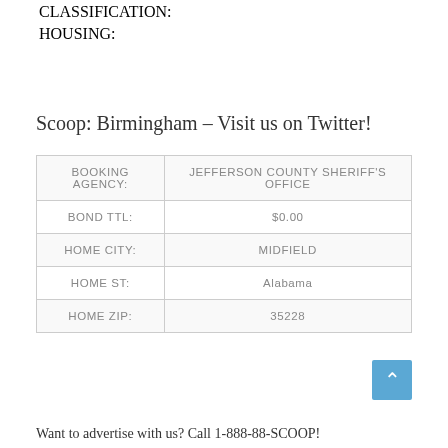| CLASSIFICATION: |  |
| --- | --- |
| HOUSING: |  |
Scoop: Birmingham – Visit us on Twitter!
| BOOKING AGENCY: | JEFFERSON COUNTY SHERIFF'S OFFICE |
| --- | --- |
| BOND TTL: | $0.00 |
| HOME CITY: | MIDFIELD |
| HOME ST: | Alabama |
| HOME ZIP: | 35228 |
Want to advertise with us? Call 1-888-88-SCOOP!